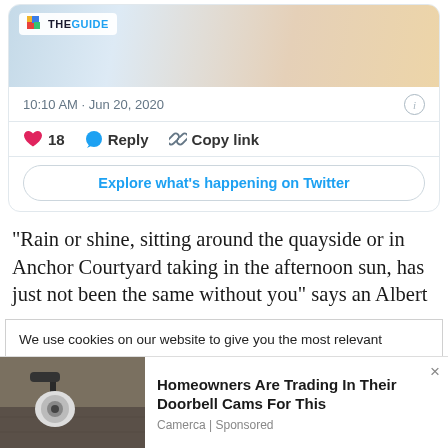[Figure (screenshot): Twitter/social media card embed with tweet image showing 'THE GUIDE' logo badge, timestamp, like/reply/copy link actions, and 'Explore what's happening on Twitter' button]
“Rain or shine, sitting around the quayside or in Anchor Courtyard taking in the afternoon sun, has just not been the same without you” says an Albert
We use cookies on our website to give you the most relevant experience by remembering your preferences and repeat visits. By clicking “Accept All”, you consent to the use of ALL the cookies. However, you may visit "Cookie Settings" to provide a controlled consent.
[Figure (photo): Advertisement showing a security camera mounted on a wall, with text 'Homeowners Are Trading In Their Doorbell Cams For This' by Camerca | Sponsored]